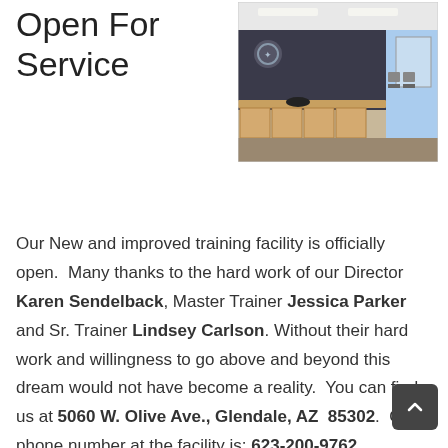Open For Service
[Figure (photo): Interior of a training facility showing a reception desk area with storage cubbies, dark wall with logo, carpeted floor, and chairs in background near windows.]
Our New and improved training facility is officially open.  Many thanks to the hard work of our Director Karen Sendelback, Master Trainer Jessica Parker and Sr. Trainer Lindsey Carlson.  Without their hard work and willingness to go above and beyond this dream would not have become a reality.  You can find us at 5060 W. Olive Ave., Glendale, AZ 85302.  Our phone number at the facility is: 623-200-9762